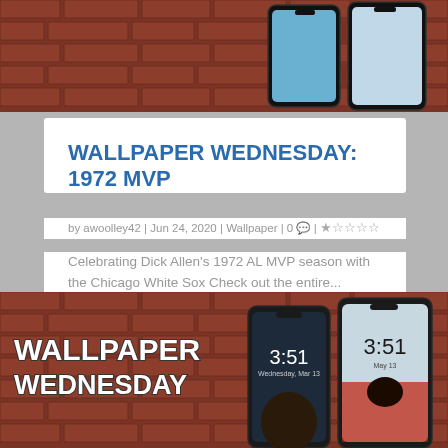[Figure (photo): Top portion of a Wallpaper Wednesday promotional image with brick background and phone mockups showing baseball wallpapers]
WALLPAPER WEDNESDAY: 1972 MVP
by awoolley42 | Jun 24, 2020 | Wallpaper | 0 💬 | ★★★★★
Celebrating Dick Allen's 1972 AL MVP season with the Chicago White Sox Check out the entire...
READ MORE
[Figure (photo): Wallpaper Wednesday promotional image showing two iPhone mockups with baseball player wallpapers, 3:51 time displayed, on a brick wall background with 'WALLPAPER WEDNESDAY' text]